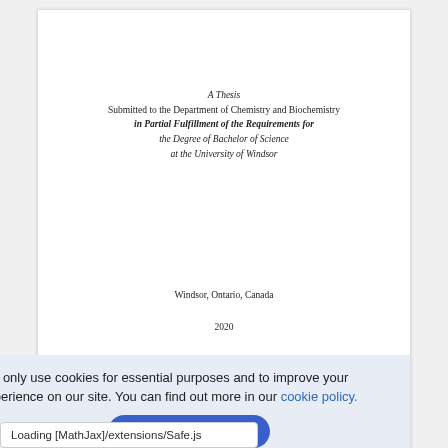A Thesis
Submitted to the Department of Chemistry and Biochemistry
in Partial Fulfillment of the Requirements for
the Degree of Bachelor of Science
at the University of Windsor
Windsor, Ontario, Canada
2020
© 2020 John Doe